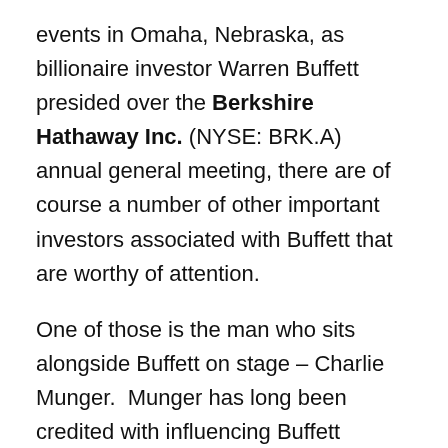events in Omaha, Nebraska, as billionaire investor Warren Buffett presided over the Berkshire Hathaway Inc. (NYSE: BRK.A) annual general meeting, there are of course a number of other important investors associated with Buffett that are worthy of attention.
One of those is the man who sits alongside Buffett on stage – Charlie Munger.  Munger has long been credited with influencing Buffett towards making some of Berkshire's key acquisitions including its stake in The Coca-Cola Company (NYSE: KO). It's also worth noting who Munger has entrusted some of his personal